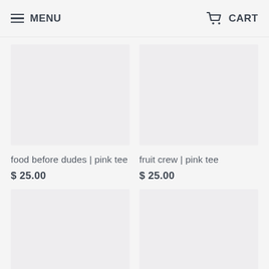MENU  CART
[Figure (photo): Product image placeholder for food before dudes | pink tee]
food before dudes | pink tee
$ 25.00
[Figure (photo): Product image placeholder for fruit crew | pink tee]
fruit crew | pink tee
$ 25.00
[Figure (photo): Product image placeholder for serial chiller | hot]
serial chiller | hot
[Figure (photo): Product image placeholder for kindness comes]
kindness comes